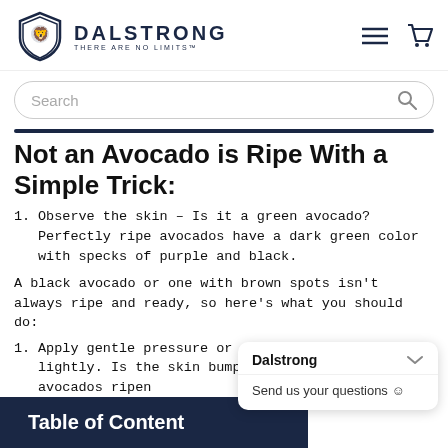[Figure (logo): Dalstrong brand logo with lion shield icon and text 'DALSTRONG THERE ARE NO LIMITS']
[Figure (screenshot): Search bar with placeholder text 'Search' and magnifying glass icon]
Not an Avocado is Ripe With a Simple Trick:
1. Observe the skin – Is it a green avocado? Perfectly ripe avocados have a dark green color with specks of purple and black.
A black avocado or one with brown spots isn't always ripe and ready, so here's what you should do:
1. Apply gentle pressure or squeeze the avocado lightly. Is the skin bumpy or smooth? When avocados ripen they have a bump texture.
2. If the avocado fee...
Table of Content
[Figure (screenshot): Dalstrong chat widget with title 'Dalstrong' and message 'Send us your questions 😊']